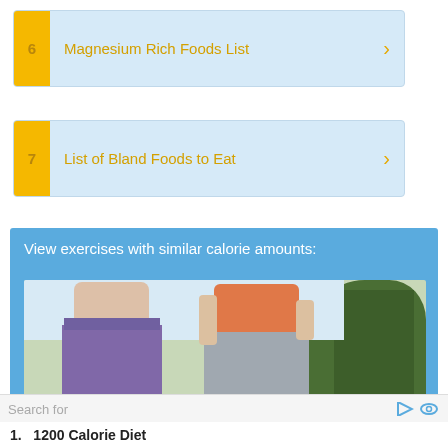6  Magnesium Rich Foods List
7  List of Bland Foods to Eat
View exercises with similar calorie amounts:
[Figure (photo): Two women in athletic wear (one in purple leggings, one in gray/peach) standing outdoors with trees in background.]
Search for
1.  1200 Calorie Diet
2.  Calorie Deficit Calculator